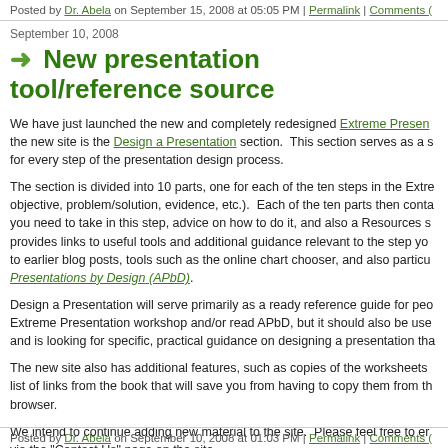Posted by Dr. Abela on September 15, 2008 at 05:05 PM | Permalink | Comments (
September 10, 2008
→ New presentation tool/reference source
We have just launched the new and completely redesigned Extreme Presen the new site is the Design a Presentation section. This section serves as a s for every step of the presentation design process.
The section is divided into 10 parts, one for each of the ten steps in the Extre objective, problem/solution, evidence, etc.). Each of the ten parts then conta you need to take in this step, advice on how to do it, and also a Resources s provides links to useful tools and additional guidance relevant to the step yo to earlier blog posts, tools such as the online chart chooser, and also particu Presentations by Design (APbD).
Design a Presentation will serve primarily as a ready reference guide for peo Extreme Presentation workshop and/or read APbD, but it should also be use and is looking for specific, practical guidance on designing a presentation tha
The new site also has additional features, such as copies of the worksheets list of links from the book that will save you from having to copy them from th browser.
We intend to continue adding new material to the site. Please feel free to er via the "Contact Us" page on the site.
Posted by Dr. Abela on September 10, 2008 at 01:03 PM | Permalink | Comments (